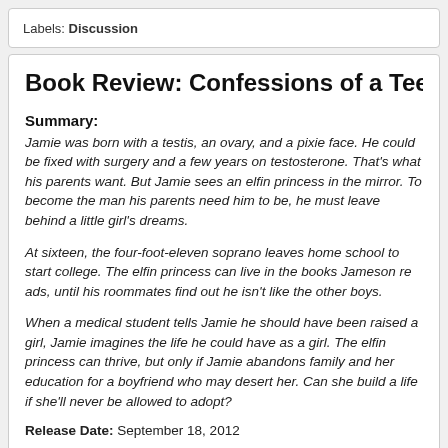Labels: Discussion
Book Review: Confessions of a Teenage Hermap...
Summary:
Jamie was born with a testis, an ovary, and a pixie face. He could be fixed with surgery and a few years on testosterone. That's what his parents want. But Jamie sees an elfin princess in the mirror. To become the man his parents need him to be, he must leave behind a little girl's dreams.
At sixteen, the four-foot-eleven soprano leaves home school to start college early. The elfin princess can live in the books Jameson reads, until his roommates find out he isn't like the other boys.
When a medical student tells Jamie he should have been raised a girl, Jamie imagines the life he could have as a girl. The elfin princess can thrive, but only if Jamie abandons family and her education for a boyfriend who may desert her. Can she build a life if she'll never be allowed to adopt?
Release Date: September 18, 2012